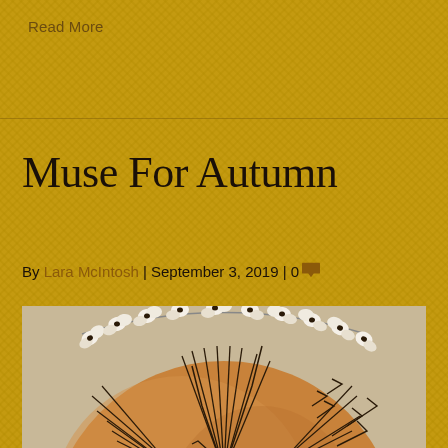Read More
Muse For Autumn
By Lara McIntosh | September 3, 2019 | 0
[Figure (photo): Close-up photograph of a decorative gourd or ceramic vessel with intricate burned/etched leaf and botanical patterns in black on a warm orange-tan background, with small white bean-shaped ornaments around the rim.]